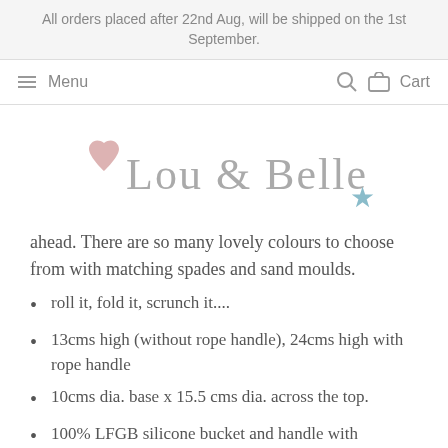All orders placed after 22nd Aug, will be shipped on the 1st September.
Menu  Cart
[Figure (logo): Lou & Belle logo with pink heart and teal star decorations]
ahead. There are so many lovely colours to choose from with matching spades and sand moulds.
roll it, fold it, scrunch it....
13cms high (without rope handle), 24cms high with rope handle
10cms dia. base x 15.5 cms dia. across the top.
100% LFGB silicone bucket and handle with